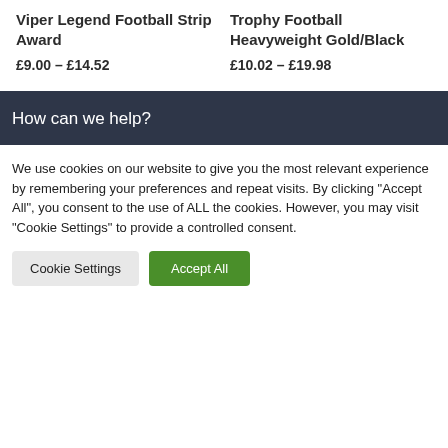Viper Legend Football Strip Award
£9.00 – £14.52
Trophy Football Heavyweight Gold/Black
£10.02 – £19.98
How can we help?
We use cookies on our website to give you the most relevant experience by remembering your preferences and repeat visits. By clicking "Accept All", you consent to the use of ALL the cookies. However, you may visit "Cookie Settings" to provide a controlled consent.
Cookie Settings | Accept All